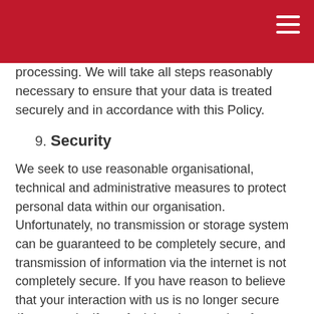processing. We will take all steps reasonably necessary to ensure that your data is treated securely and in accordance with this Policy.
9. Security
We seek to use reasonable organisational, technical and administrative measures to protect personal data within our organisation. Unfortunately, no transmission or storage system can be guaranteed to be completely secure, and transmission of information via the internet is not completely secure. If you have reason to believe that your interaction with us is no longer secure (for example, if you feel that the security of any account you might have with us has been compromised), please immediately notify us of the problem by Contacting Us.